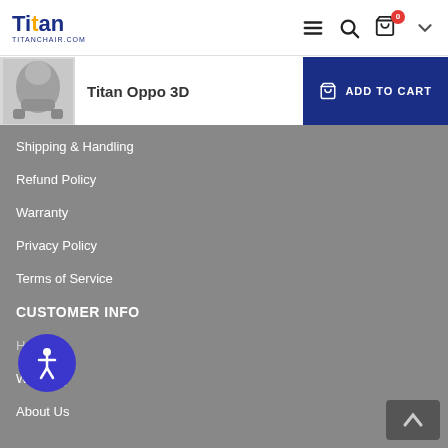Titan TITANCHAIR.COM
Titan Oppo 3D
Shipping & Handling
Refund Policy
Warranty
Privacy Policy
Terms of Service
CUSTOMER INFO
Help
Warranty FAQ
About Us
[Figure (screenshot): Accessibility/PageAssist button (circular blue icon with person figure)]
[Figure (screenshot): Back to top chevron button (dark gray rounded rectangle with upward caret)]